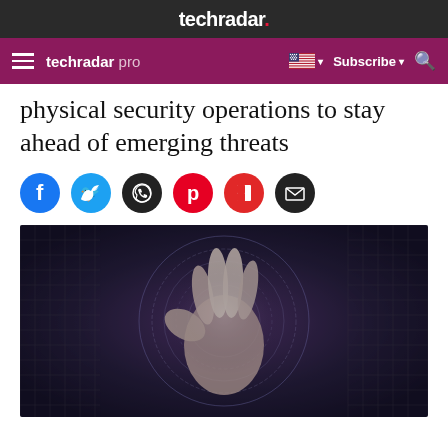techradar.
techradar pro | Subscribe
physical security operations to stay ahead of emerging threats
[Figure (other): Social sharing icons row: Facebook (blue circle), Twitter (light blue circle), WhatsApp (dark circle with phone), Pinterest (red circle with P), Flipboard (red circle with F), Email (dark circle with envelope)]
[Figure (photo): A robotic or futuristic hand reaching upward against a dark digital background with glowing circular HUD elements and grid patterns in dark blue and purple tones]